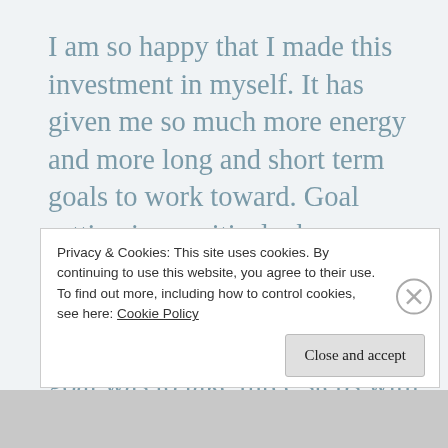I am so happy that I made this investment in myself. It has given me so much more energy and more long and short term goals to work toward. Goal setting is so critical when you have cancer. The smallest of goals can be the most satisfying. A day after my hysterectomy my goal was to take three steps with the help of two nurses, now I'm walking
Privacy & Cookies: This site uses cookies. By continuing to use this website, you agree to their use.
To find out more, including how to control cookies, see here: Cookie Policy
Close and accept